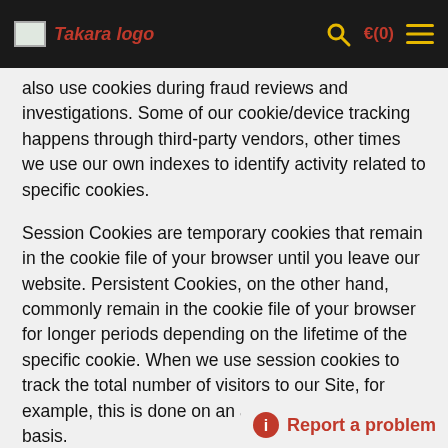Takara logo  🔍  🛒(0)  ≡
also use cookies during fraud reviews and investigations. Some of our cookie/device tracking happens through third-party vendors, other times we use our own indexes to identify activity related to specific cookies.
Session Cookies are temporary cookies that remain in the cookie file of your browser until you leave our website. Persistent Cookies, on the other hand, commonly remain in the cookie file of your browser for longer periods depending on the lifetime of the specific cookie. When we use session cookies to track the total number of visitors to our Site, for example, this is done on an anonymous aggregate basis.
We also use Google Analytics to mo…
ℹ Report a problem